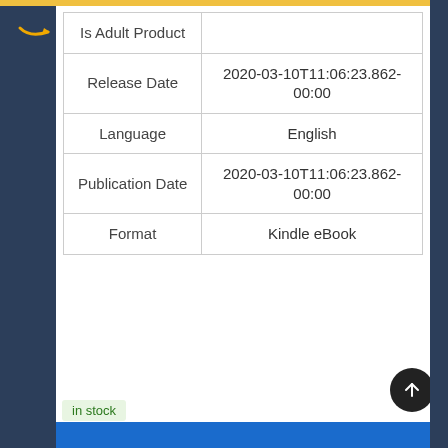|  |  |
| --- | --- |
| Is Adult Product |  |
| Release Date | 2020-03-10T11:06:23.862-00:00 |
| Language | English |
| Publication Date | 2020-03-10T11:06:23.862-00:00 |
| Format | Kindle eBook |
in stock
7 new from $8.99
1 used from $8.13
Free shipping